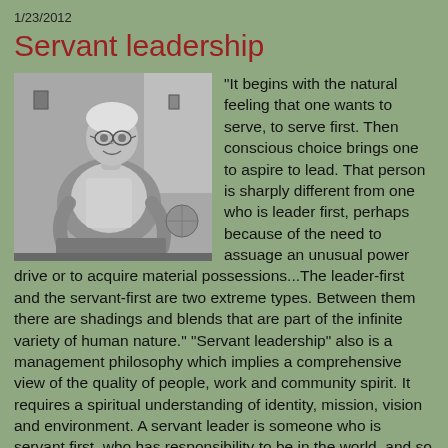1/23/2012
Servant leadership
[Figure (photo): Black and white photograph of an elderly man seated, smiling, wearing glasses, in a casual indoor setting.]
"It begins with the natural feeling that one wants to serve, to serve first. Then conscious choice brings one to aspire to lead. That person is sharply different from one who is leader first, perhaps because of the need to assuage an unusual power drive or to acquire material possessions...The leader-first and the servant-first are two extreme types. Between them there are shadings and blends that are part of the infinite variety of human nature." "Servant leadership" also is a management philosophy which implies a comprehensive view of the quality of people, work and community spirit. It requires a spiritual understanding of identity, mission, vision and environment. A servant leader is someone who is servant first, who has responsibility to be in the world, and so he contributes to the well-being of people and community. A servant leader also is the result of the...